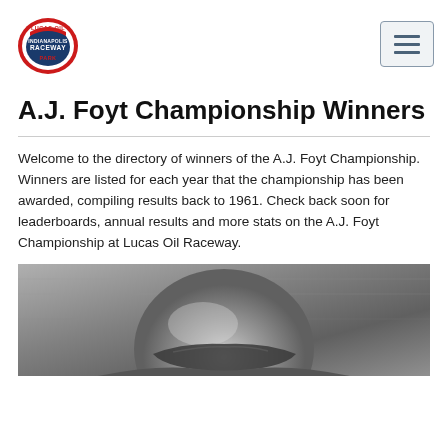[Figure (logo): Lucas Oil Indianapolis Raceway Park logo — oval badge with red and blue text]
A.J. Foyt Championship Winners
Welcome to the directory of winners of the A.J. Foyt Championship. Winners are listed for each year that the championship has been awarded, compiling results back to 1961. Check back soon for leaderboards, annual results and more stats on the A.J. Foyt Championship at Lucas Oil Raceway.
[Figure (photo): Black and white photograph of a racing driver wearing a helmet, viewed from above/front at close range]